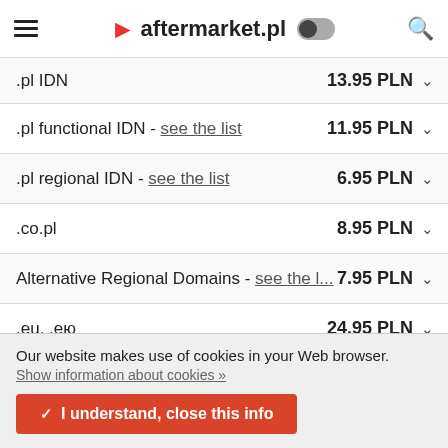aftermarket.pl
| Domain | Price |
| --- | --- |
| .pl IDN | 13.95 PLN |
| .pl functional IDN - see the list | 11.95 PLN |
| .pl regional IDN - see the list | 6.95 PLN |
| .co.pl | 8.95 PLN |
| Alternative Regional Domains - see the l... | 7.95 PLN |
| .eu, .eю | 24.95 PLN |
| .com | 39.95 PLN |
| .net | 49.95 PLN |
| .org | 49.95 PLN |
Our website makes use of cookies in your Web browser. Show information about cookies »
✓ I understand, close this info